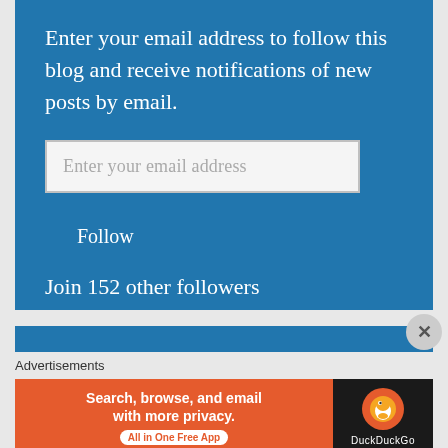Enter your email address to follow this blog and receive notifications of new posts by email.
Enter your email address
Follow
Join 152 other followers
Advertisements
[Figure (screenshot): DuckDuckGo advertisement banner: orange section with text 'Search, browse, and email with more privacy. All in One Free App' and dark section with DuckDuckGo duck logo and brand name.]